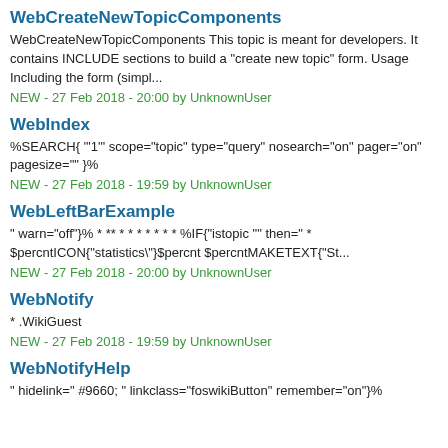WebCreateNewTopicComponents
WebCreateNewTopicComponents This topic is meant for developers. It contains INCLUDE sections to build a "create new topic" form. Usage Including the form (simpl...
NEW - 27 Feb 2018 - 20:00 by UnknownUser
WebIndex
%SEARCH{ "1" scope="topic" type="query" nosearch="on" pager="on" pagesize="" }%
NEW - 27 Feb 2018 - 19:59 by UnknownUser
WebLeftBarExample
" warn="off"}% * ** * * * * * * * %IF{"istopic "" then=" * $percntICON{"statistics"}$percnt $percntMAKETEXT{"St...
NEW - 27 Feb 2018 - 20:00 by UnknownUser
WebNotify
* .WikiGuest
NEW - 27 Feb 2018 - 19:59 by UnknownUser
WebNotifyHelp
" hidelink=" #9660; " linkclass="foswikiButton" remember="on"}%